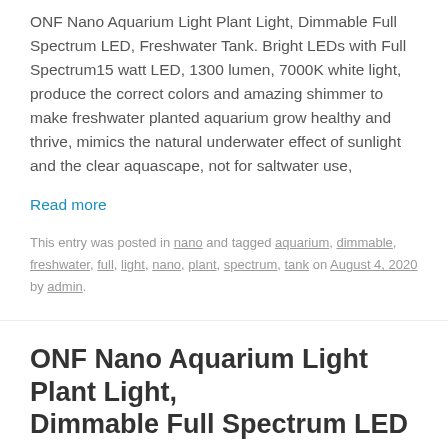ONF Nano Aquarium Light Plant Light, Dimmable Full Spectrum LED, Freshwater Tank. Bright LEDs with Full Spectrum15 watt LED, 1300 lumen, 7000K white light, produce the correct colors and amazing shimmer to make freshwater planted aquarium grow healthy and thrive, mimics the natural underwater effect of sunlight and the clear aquascape, not for saltwater use,
Read more
This entry was posted in nano and tagged aquarium, dimmable, freshwater, full, light, nano, plant, spectrum, tank on August 4, 2020 by admin.
ONF Nano Aquarium Light Plant Light, Dimmable Full Spectrum LED